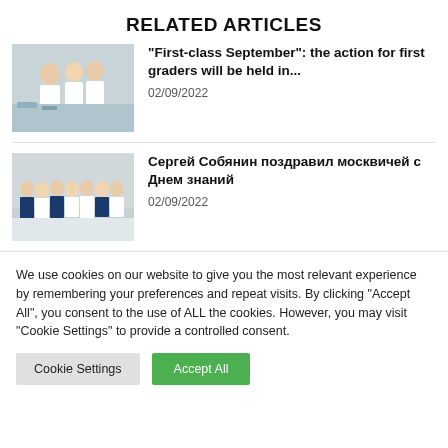RELATED ARTICLES
[Figure (photo): Children in white lab coats in a classroom setting]
“First-class September”: the action for first graders will be held in...
02/09/2022
[Figure (photo): Group of students and an adult in a school gymnasium]
Сергей Собянин поздравил москвичей с Днем знаний
02/09/2022
We use cookies on our website to give you the most relevant experience by remembering your preferences and repeat visits. By clicking “Accept All”, you consent to the use of ALL the cookies. However, you may visit “Cookie Settings” to provide a controlled consent.
Cookie Settings
Accept All